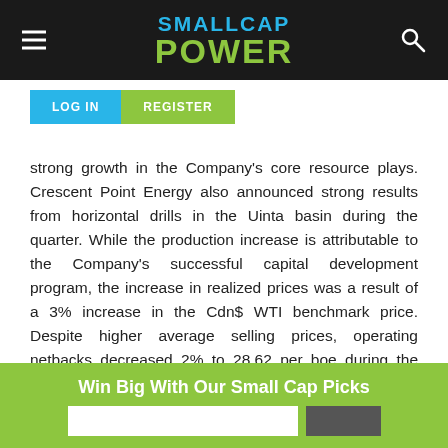SMALLCAP POWER
strong growth in the Company’s core resource plays. Crescent Point Energy also announced strong results from horizontal drills in the Uinta basin during the quarter. While the production increase is attributable to the Company’s successful capital development program, the increase in realized prices was a result of a 3% increase in the Cdn$ WTI benchmark price. Despite higher average selling prices, operating netbacks decreased 2% to 28.62 per boe during the quarter as a result of a 6% increase in operating expenses and lower realized gain on derivatives.
Win Big With Our Small Cap Picks